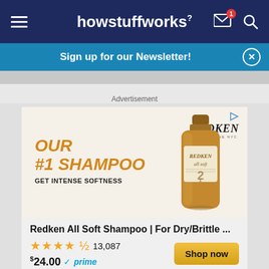howstuffworks
Sign up for our Newsletter!
Advertisement
[Figure (photo): Redken All Soft Shampoo bottle advertisement with text OUR #1 SHAMPOO GET INTENSE SOFTNESS and REDKEN logo]
Redken All Soft Shampoo | For Dry/Brittle ...
★★★★½ 13,087
$24.00 ✓prime
Shop now